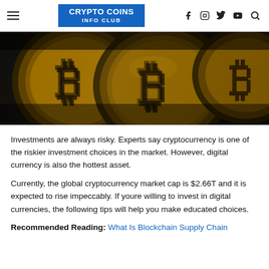CRYPTO COINS INFO CLUB
[Figure (photo): Close-up photo of multiple gold Bitcoin coins with the B symbol embossed on them, dark background]
Investments are always risky. Experts say cryptocurrency is one of the riskier investment choices in the market. However, digital currency is also the hottest asset.
Currently, the global cryptocurrency market cap is $2.66T and it is expected to rise impeccably. If youre willing to invest in digital currencies, the following tips will help you make educated choices.
Recommended Reading: What Is Blockchain Supply Chain